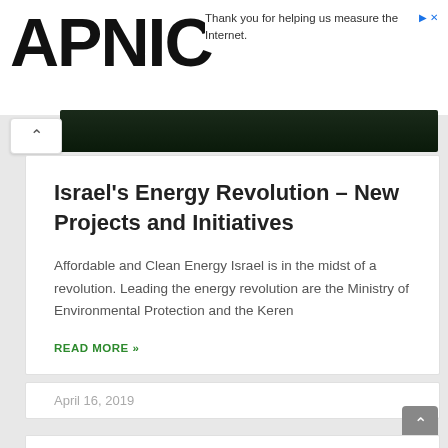APNIC
Thank you for helping us measure the Internet.
Israel's Energy Revolution – New Projects and Initiatives
Affordable and Clean Energy Israel is in the midst of a revolution. Leading the energy revolution are the Ministry of Environmental Protection and the Keren
READ MORE »
April 16, 2019